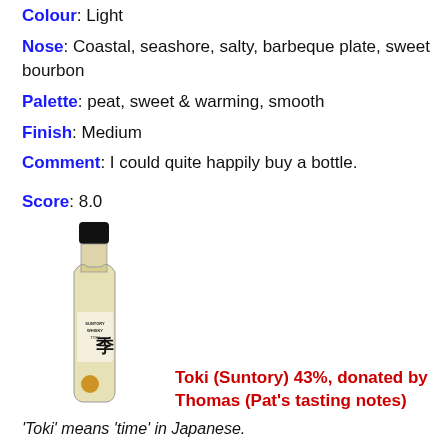Colour: Light
Nose: Coastal, seashore, salty, barbeque plate, sweet bourbon
Palette: peat, sweet & warming, smooth
Finish: Medium
Comment: I could quite happily buy a bottle.
Score: 8.0
[Figure (photo): A bottle of Suntory Whisky Toki, with black cap, rectangular clear bottle containing pale golden whisky, white label reading SUNTORY WHISKY TOKI with Japanese character, and a gold medal medallion on the lower front.]
Toki (Suntory) 43%, donated by Thomas (Pat's tasting notes)
'Toki' means 'time' in Japanese.